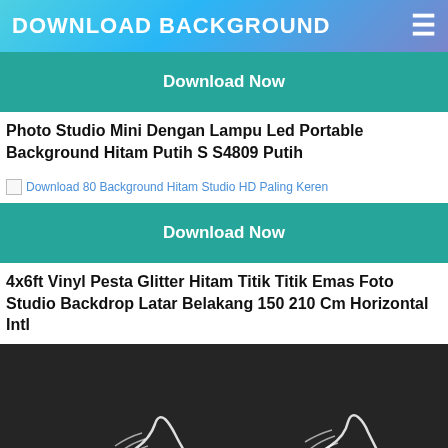DOWNLOAD BACKGROUND
[Figure (screenshot): Download Now button (teal background)]
Photo Studio Mini Dengan Lampu Led Portable Background Hitam Putih S S4809 Putih
[Figure (photo): Broken image placeholder with alt text: Download 80 Background Hitam Studio HD Paling Keren]
[Figure (screenshot): Download Now button (teal background)]
4x6ft Vinyl Pesta Glitter Hitam Titik Titik Emas Foto Studio Backdrop Latar Belakang 150 210 Cm Horizontal Intl
[Figure (photo): Dark background photo showing sneakers/shoes on a black studio backdrop]